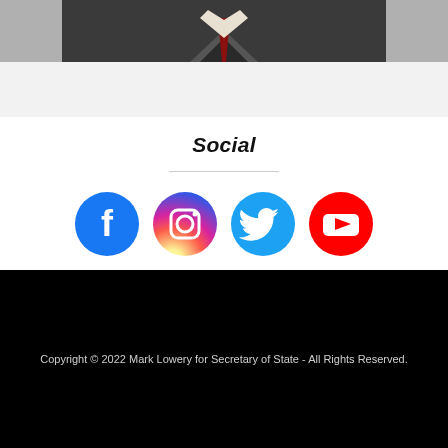[Figure (photo): Partial photo of a man in a dark suit and red tie against a gray background, cropped at top]
Social
[Figure (infographic): Four social media icons in circles: Facebook (blue), Instagram (gradient pink/purple), Twitter (light blue), YouTube (red)]
Copyright © 2022 Mark Lowery for Secretary of State - All Rights Reserved.